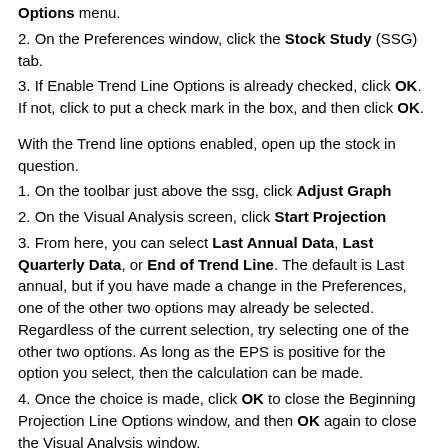Options menu.
2. On the Preferences window, click the Stock Study (SSG) tab.
3. If Enable Trend Line Options is already checked, click OK. If not, click to put a check mark in the box, and then click OK.
With the Trend line options enabled, open up the stock in question.
1. On the toolbar just above the ssg, click Adjust Graph
2. On the Visual Analysis screen, click Start Projection
3. From here, you can select Last Annual Data, Last Quarterly Data, or End of Trend Line. The default is Last annual, but if you have made a change in the Preferences, one of the other two options may already be selected. Regardless of the current selection, try selecting one of the other two options. As long as the EPS is positive for the option you select, then the calculation can be made.
4. Once the choice is made, click OK to close the Beginning Projection Line Options window, and then OK again to close the Visual Analysis window.
5. With that change, you should now be able to manually enter an estimated High Earnings Per Share.